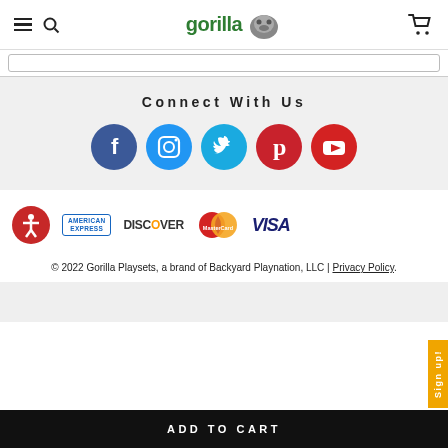Gorilla Playsets website header with hamburger menu, search icon, Gorilla logo, and cart icon
Connect With Us
[Figure (infographic): Five social media icon circles: Facebook (blue), Instagram (blue), Twitter (cyan), Pinterest (red), YouTube (red)]
[Figure (infographic): Payment method logos: American Express, Discover, MasterCard, Visa]
© 2022 Gorilla Playsets, a brand of Backyard Playnation, LLC | Privacy Policy.
ADD TO CART